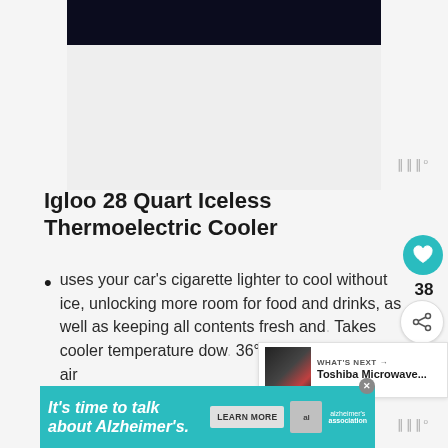[Figure (photo): Dark navy/black rectangular image area at top of page (video thumbnail or image placeholder)]
Igloo 28 Quart Iceless Thermoelectric Cooler
uses your car's cigarette lighter to cool without ice, unlocking more room for food and drinks, as well as keeping all contents fresh and. Takes cooler temperature dow. 36°F below surrounding air
[Figure (other): WHAT'S NEXT widget showing Toshiba Microwave... thumbnail on the right side]
[Figure (other): Advertisement banner: It's time to talk about Alzheimer's. with Learn More button and Alzheimer's Association logo]